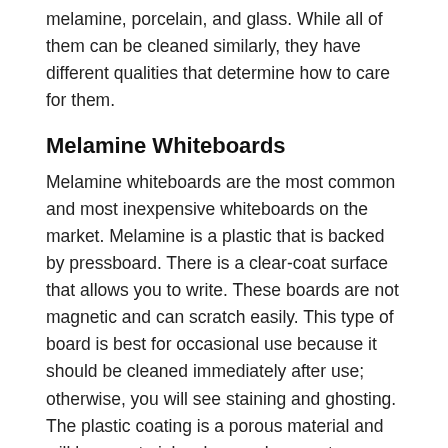melamine, porcelain, and glass. While all of them can be cleaned similarly, they have different qualities that determine how to care for them.
Melamine Whiteboards
Melamine whiteboards are the most common and most inexpensive whiteboards on the market. Melamine is a plastic that is backed by pressboard. There is a clear-coat surface that allows you to write. These boards are not magnetic and can scratch easily. This type of board is best for occasional use because it should be cleaned immediately after use; otherwise, you will see staining and ghosting. The plastic coating is a porous material and will hang onto ink colors, so be sure to never use permanent markers on these boards.
Porcelain Whiteboards